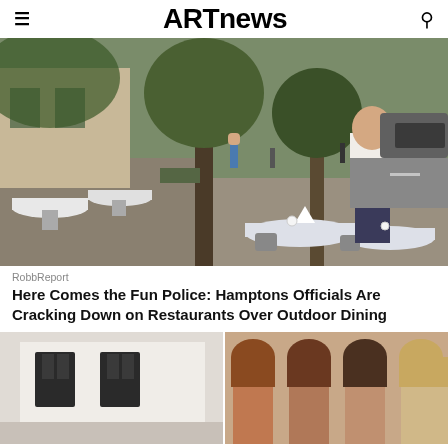ARTnews
[Figure (photo): Outdoor restaurant dining scene on a sidewalk in the Hamptons, with white-tablecloth tables set up under trees. A man in a white t-shirt and dark apron stands near the tables. Cars and pedestrians visible in background.]
RobbReport
Here Comes the Fun Police: Hamptons Officials Are Cracking Down on Restaurants Over Outdoor Dining
[Figure (photo): White building exterior with dark-framed windows, partial view.]
[Figure (photo): Four women with similar brown to blonde hair poses, partial view.]